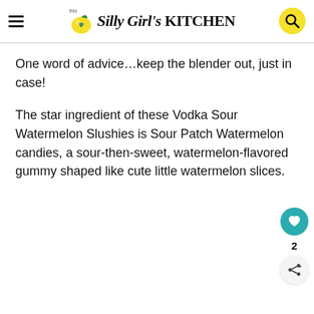This Silly Girl's KITCHEN
One word of advice…keep the blender out, just in case!
The star ingredient of these Vodka Sour Watermelon Slushies is Sour Patch Watermelon candies, a sour-then-sweet, watermelon-flavored gummy shaped like cute little watermelon slices.